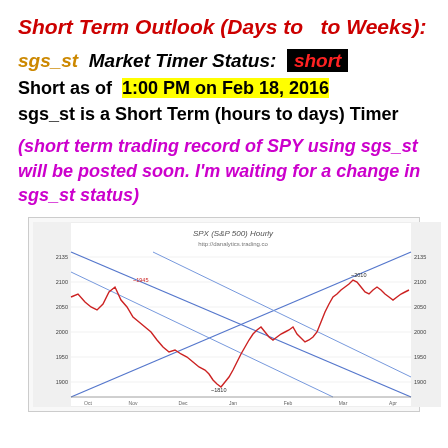Short Term Outlook (Days to  to Weeks):
sgs_st  Market Timer Status:  short
Short as of  1:00 PM on Feb 18, 2016
sgs_st is a Short Term (hours to days) Timer
(short term trading record of SPY using sgs_st will be posted soon. I'm waiting for a change in sgs_st status)
[Figure (continuous-plot): SPX (S&P 500) Hourly chart showing price action with trend lines (channel lines crossing), red candlestick/line price series, and blue diagonal trend/channel lines crossing the chart area.]